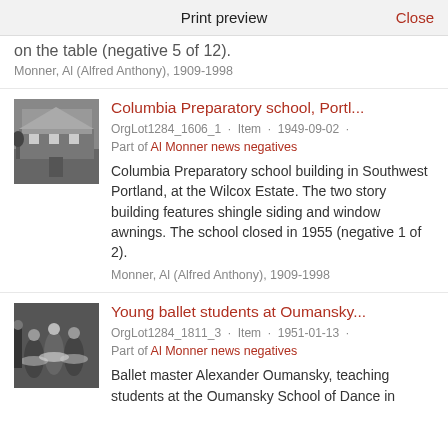Print preview    Close
on the table (negative 5 of 12).
Monner, Al (Alfred Anthony), 1909-1998
Columbia Preparatory school, Portl...
OrgLot1284_1606_1 · Item · 1949-09-02 ·
Part of Al Monner news negatives
Columbia Preparatory school building in Southwest Portland, at the Wilcox Estate. The two story building features shingle siding and window awnings. The school closed in 1955 (negative 1 of 2).
Monner, Al (Alfred Anthony), 1909-1998
Young ballet students at Oumansky...
OrgLot1284_1811_3 · Item · 1951-01-13 ·
Part of Al Monner news negatives
Ballet master Alexander Oumansky, teaching students at the Oumansky School of Dance in